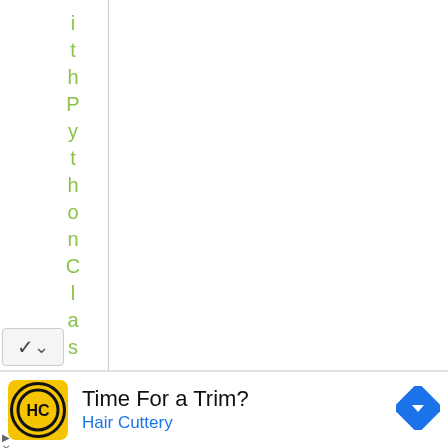i t h P y t h o n C l a s s
[Figure (screenshot): Partial view of a web page or IDE showing vertical text 'ithPythonClass' in green letters along a sidebar, with a chevron/dropdown button at the bottom left.]
[Figure (infographic): Advertisement banner: Hair Cuttery ad with yellow HC logo, 'Time For a Trim?' headline, 'Hair Cuttery' subline in blue, and a blue diamond-shaped arrow icon on the right.]